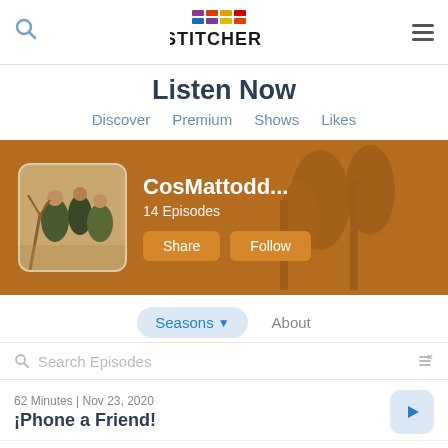Stitcher — Listen Now
Listen Now
Discover
Premium
Shows
Likes
[Figure (screenshot): Stitcher podcast app banner showing CosMattodd... podcast with 14 Episodes, Share and Follow buttons on an orange/brown background]
Seasons ▾   About
Search Episodes
62 Minutes | Nov 23, 2020
¡Phone a Friend!
38 Minutes | Nov 15, 2020
The beginning